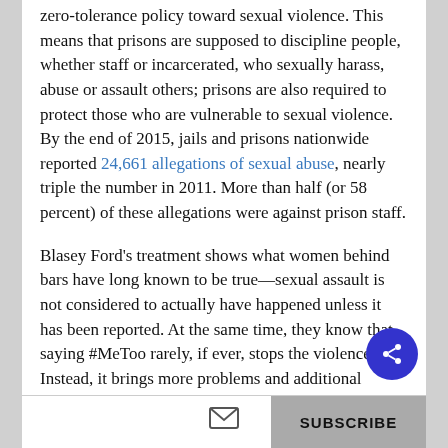zero-tolerance policy toward sexual violence. This means that prisons are supposed to discipline people, whether staff or incarcerated, who sexually harass, abuse or assault others; prisons are also required to protect those who are vulnerable to sexual violence. By the end of 2015, jails and prisons nationwide reported 24,661 allegations of sexual abuse, nearly triple the number in 2011. More than half (or 58 percent) of these allegations were against prison staff.
Blasey Ford's treatment shows what women behind bars have long known to be true—sexual assault is not considered to actually have happened unless it has been reported. At the same time, they know that saying #MeToo rarely, if ever, stops the violence. Instead, it brings more problems and additional punishments, including being cut off from all human contact.
If you like this article, please sign up for Snapshot, Portside's daily summary.